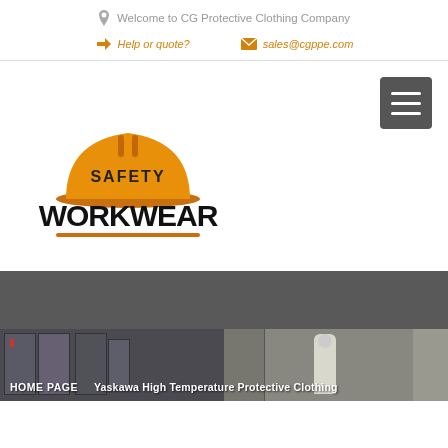Welcome to CG Protective Clothing Company
Help or quote?
sales@cgppe.com
[Figure (logo): Safety Workwear logo with orange hard hat and bold text SAFETY WORKWEAR with orange underline]
[Figure (other): Hamburger menu icon (three white horizontal lines on dark grey square button)]
[Figure (photo): Dark grey section followed by two industrial/electrical panel photos side by side with worker in protective suit]
HOME PAGE   Yaskawa High Temperature Protective Clothing